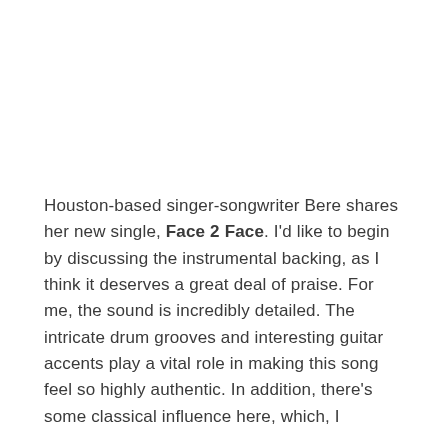Houston-based singer-songwriter Bere shares her new single, Face 2 Face. I'd like to begin by discussing the instrumental backing, as I think it deserves a great deal of praise. For me, the sound is incredibly detailed. The intricate drum grooves and interesting guitar accents play a vital role in making this song feel so highly authentic. In addition, there's some classical influence here, which, I